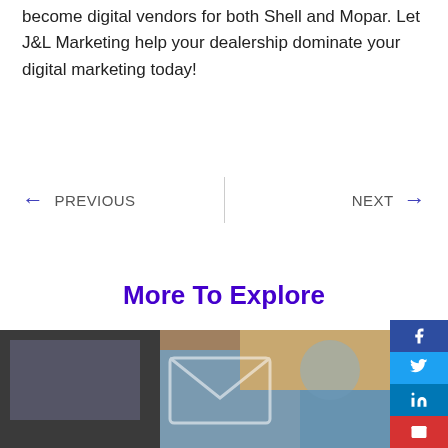become digital vendors for both Shell and Mopar. Let J&L Marketing help your dealership dominate your digital marketing today!
← PREVIOUS | NEXT →
More To Explore
[Figure (photo): Person at laptop with email envelope icon overlay]
[Figure (other): Social media share buttons: Facebook, Twitter, LinkedIn, Email]